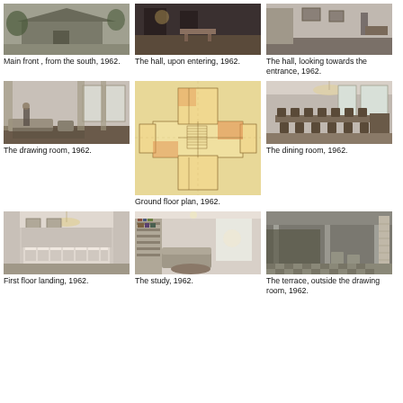[Figure (photo): Exterior photo of a large house, main front from the south, 1962. Black and white photograph.]
[Figure (photo): Interior photo of a hall upon entering, 1962. Black and white photograph.]
[Figure (photo): Interior photo of the hall looking towards the entrance, 1962. Black and white photograph.]
Main front , from the south, 1962.
The hall, upon entering, 1962.
The hall, looking towards the entrance, 1962.
[Figure (photo): Interior photo of the drawing room, 1962. Black and white photograph.]
[Figure (engineering-diagram): Ground floor plan architectural drawing, 1962. Color floor plan diagram.]
[Figure (photo): Interior photo of the dining room, 1962. Black and white photograph.]
The drawing room, 1962.
Ground floor plan, 1962.
The dining room, 1962.
[Figure (photo): Interior photo of first floor landing, 1962. Black and white photograph.]
[Figure (photo): Interior photo of the study, 1962. Black and white photograph.]
[Figure (photo): Photo of the terrace outside the drawing room, 1962. Black and white photograph.]
First floor landing, 1962.
The study, 1962.
The terrace, outside the drawing room, 1962.